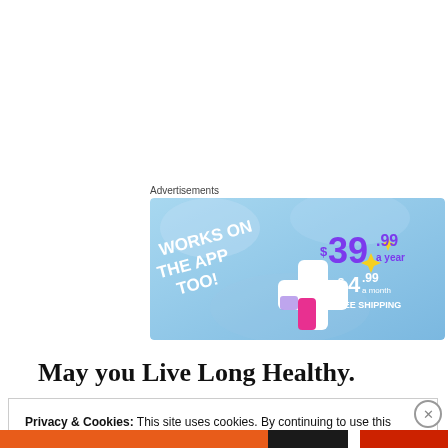Advertisements
[Figure (illustration): Advertisement banner with light blue background showing 'WORKS ON THE APP TOO!' text on left side, colorful plus sign graphic with yellow sparkles, and pricing text '$39.99 a year or $4.99 a month + FREE SHIPPING' on right side]
May you Live Long Healthy.
Privacy & Cookies: This site uses cookies. By continuing to use this website, you agree to their use.
To find out more, including how to control cookies, see here:
Cookie Policy
Close and accept